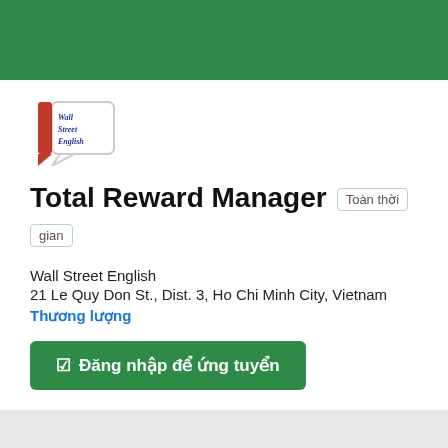[Figure (logo): Wall Street English logo — a white speech bubble outline with red left bracket and blue handwritten text 'Wall Street English']
Total Reward Manager
Toàn thời gian
Wall Street English
21 Le Quy Don St., Dist. 3, Ho Chi Minh City, Vietnam
Thương lượng
☑ Đăng nhập để ứng tuyển